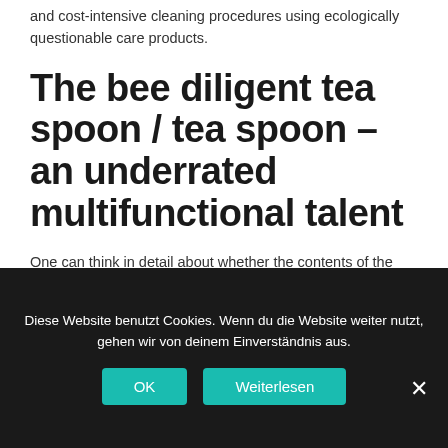and cost-intensive cleaning procedures using ecologically questionable care products.
The bee diligent tea spoon / tea spoon – an underrated multifunctional talent
One can think in detail about whether the contents of the pantry provide a large portion of dinner and a drink or, in general, whether the new infuser reliably keeps it tight on the move. Recently, with a view to a
Diese Website benutzt Cookies. Wenn du die Website weiter nutzt, gehen wir von deinem Einverständnis aus.